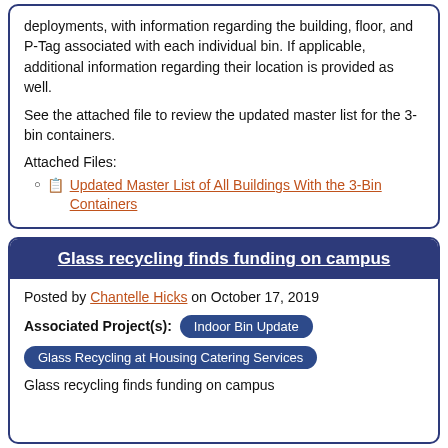deployments, with information regarding the building, floor, and P-Tag associated with each individual bin. If applicable, additional information regarding their location is provided as well.
See the attached file to review the updated master list for the 3-bin containers.
Attached Files:
Updated Master List of All Buildings With the 3-Bin Containers
Glass recycling finds funding on campus
Posted by Chantelle Hicks on October 17, 2019
Associated Project(s): Indoor Bin Update | Glass Recycling at Housing Catering Services
Glass recycling finds funding on campus